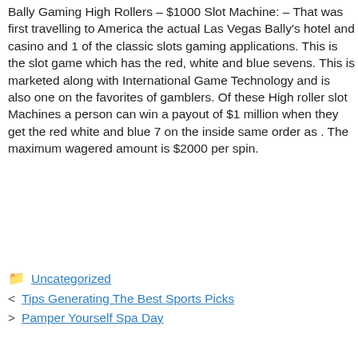Bally Gaming High Rollers – $1000 Slot Machine: – That was first travelling to America the actual Las Vegas Bally's hotel and casino and 1 of the classic slots gaming applications. This is the slot game which has the red, white and blue sevens. This is marketed along with International Game Technology and is also one on the favorites of gamblers. Of these High roller slot Machines a person can win a payout of $1 million when they get the red white and blue 7 on the inside same order as . The maximum wagered amount is $2000 per spin.
Uncategorized
Tips Generating The Best Sports Picks
Pamper Yourself Spa Day